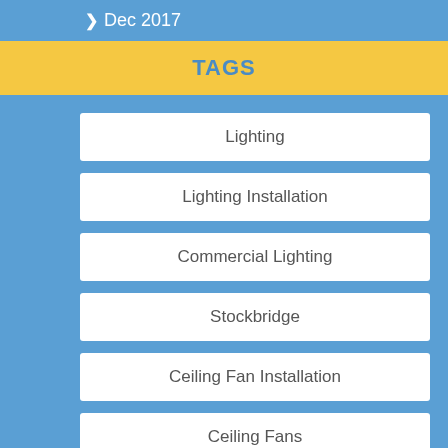> Dec 2017
TAGS
Lighting
Lighting Installation
Commercial Lighting
Stockbridge
Ceiling Fan Installation
Ceiling Fans
Ceiling Fan Installers